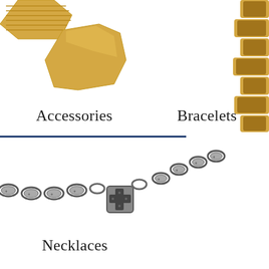[Figure (photo): Gold accessories - hexagonal gold pieces/cufflinks viewed from above, partially cropped at top]
Accessories
[Figure (photo): Gold chain bracelet with dark accents, cropped on right side of page]
Bracelets
[Figure (photo): Silver/steel necklace chain with ornate cross pendant and decorative links]
Necklaces